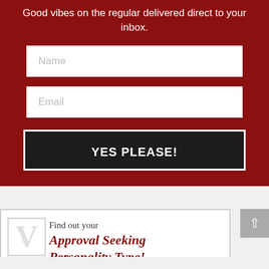Good vibes on the regular delivered direct to your inbox.
[Figure (screenshot): Name input field (white rectangle with placeholder text 'Name')]
[Figure (screenshot): Email input field (white rectangle with placeholder text 'Email')]
YES PLEASE!
[Figure (infographic): Quiz card with text 'Find out your Approval Seeking Personality Type!' and button bar 'TAKE THE QUIZ NOW!']